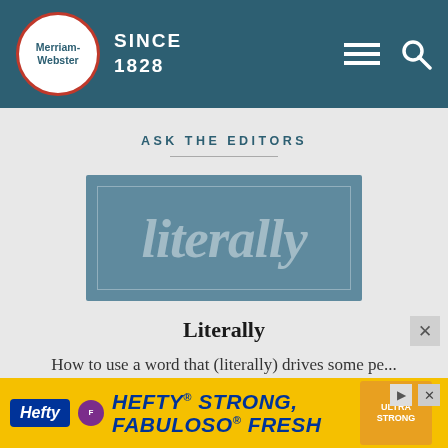Merriam-Webster SINCE 1828
ASK THE EDITORS
[Figure (illustration): Blue-grey card with the word 'literally' displayed in large semi-transparent italic serif font, with a thin rectangular border inside the card]
Literally
How to use a word that (literally) drives some pe...
[Figure (infographic): Hefty brand advertisement banner with yellow background reading HEFTY STRONG, FABULOSO FRESH]